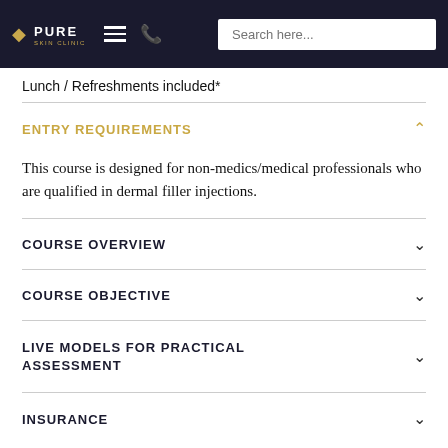Pure Skin Clinic — navigation header with logo, hamburger, phone, and search box
Lunch / Refreshments included*
ENTRY REQUIREMENTS
This course is designed for non-medics/medical professionals who are qualified in dermal filler injections.
COURSE OVERVIEW
COURSE OBJECTIVE
LIVE MODELS FOR PRACTICAL ASSESSMENT
INSURANCE